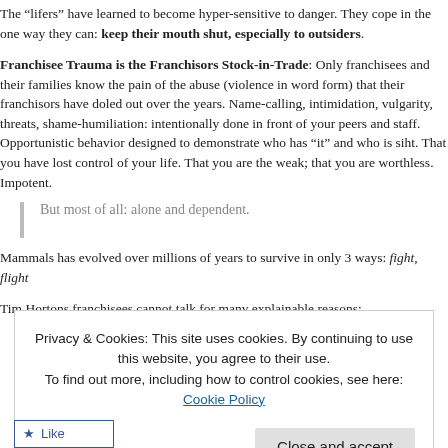The “lifers” have learned to become hyper-sensitive to danger. They cope in the one way they can: keep their mouth shut, especially to outsiders.
Franchisee Trauma is the Franchisors Stock-in-Trade: Only franchisees and their families know the pain of the abuse (violence in word form) that their franchisors have doled out over the years. Name-calling, intimidation, vulgarity, threats, shame-humiliation: intentionally done in front of your peers and staff. Opportunistic behavior designed to demonstrate who has “it” and who is siht. That you have lost control of your life. That you are the weak; that you are worthless. Impotent.
But most of all: alone and dependent.
Mammals has evolved over millions of years to survive in only 3 ways: fight, flight
Tim Hortons franchisees cannot talk for many explainable reasons:
o experts in trauma psychology know that voicelessness is very closely aligned to powerlessness.
Privacy & Cookies: This site uses cookies. By continuing to use this website, you agree to their use. To find out more, including how to control cookies, see here: Cookie Policy
Close and accept
Like